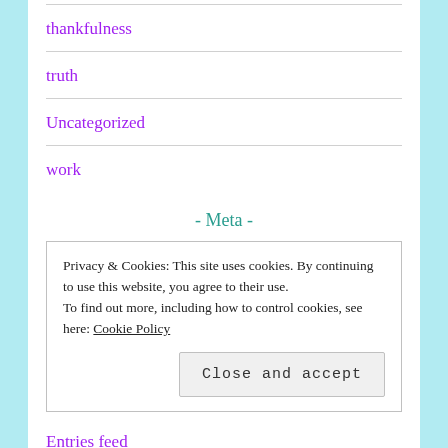thankfulness
truth
Uncategorized
work
- Meta -
Privacy & Cookies: This site uses cookies. By continuing to use this website, you agree to their use.
To find out more, including how to control cookies, see here: Cookie Policy
Close and accept
Entries feed